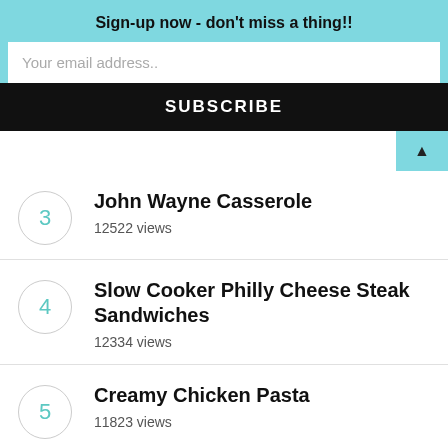Sign-up now - don't miss a thing!!
[Figure (screenshot): Email subscription input box with placeholder text 'Your email address..']
SUBSCRIBE
3 John Wayne Casserole 12522 views
4 Slow Cooker Philly Cheese Steak Sandwiches 12334 views
5 Creamy Chicken Pasta 11823 views
6 French Onion Pork Chops